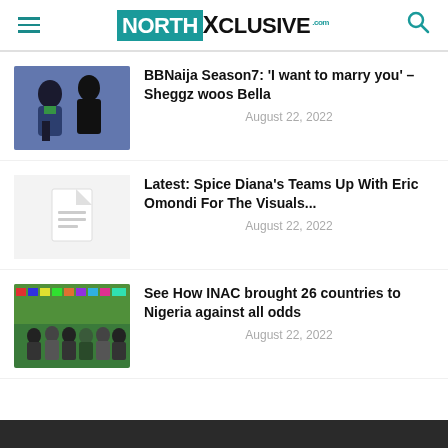NORTHXclusive.com
[Figure (photo): Two people close together, one appearing to whisper or speak to the other, indoor setting with blue/purple background]
BBNaija Season7: 'I want to marry you' – Sheggz woos Bella
August 22, 2022
[Figure (illustration): Document placeholder icon — gray background with white document icon]
Latest: Spice Diana's Teams Up With Eric Omondi For The Visuals...
August 22, 2022
[Figure (photo): Group of people standing in front of colorful banner/display, event with flags and signage]
See How INAC brought 26 countries to Nigeria against all odds
August 22, 2022